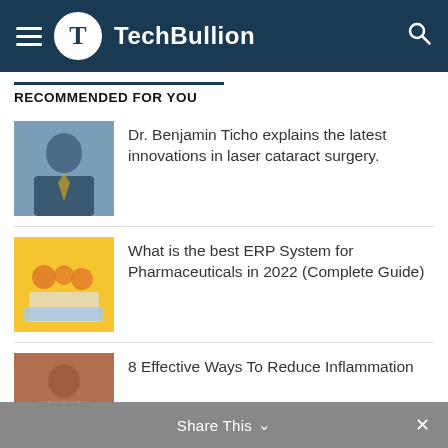TechBullion
RECOMMENDED FOR YOU
Dr. Benjamin Ticho explains the latest innovations in laser cataract surgery.
What is the best ERP System for Pharmaceuticals in 2022 (Complete Guide)
8 Effective Ways To Reduce Inflammation
Share This